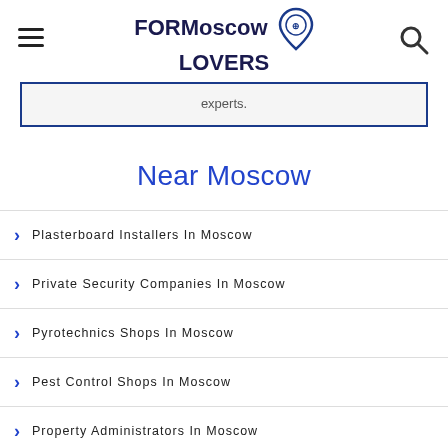FOR Moscow LOVERS
experts.
Near Moscow
Plasterboard Installers In Moscow
Private Security Companies In Moscow
Pyrotechnics Shops In Moscow
Pest Control Shops In Moscow
Property Administrators In Moscow
Packaging Companies In Moscow